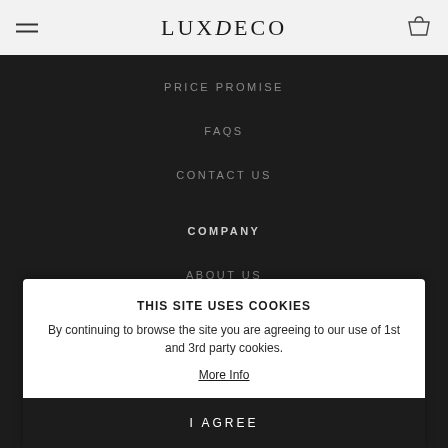LUXDECO
PRICE PROMISE
FAQS
CONTACT US
COMPANY
ABOUT US
THIS SITE USES COOKIES
By continuing to browse the site you are agreeing to our use of 1st and 3rd party cookies.
More Info
I AGREE